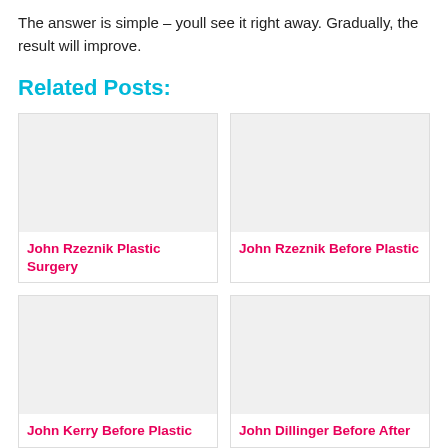The answer is simple – youll see it right away. Gradually, the result will improve.
Related Posts:
[Figure (photo): Placeholder image for John Rzeznik Plastic Surgery post]
John Rzeznik Plastic Surgery
[Figure (photo): Placeholder image for John Rzeznik Before Plastic post]
John Rzeznik Before Plastic
[Figure (photo): Placeholder image for John Kerry Before Plastic post]
John Kerry Before Plastic
[Figure (photo): Placeholder image for John Dillinger Before After post]
John Dillinger Before After